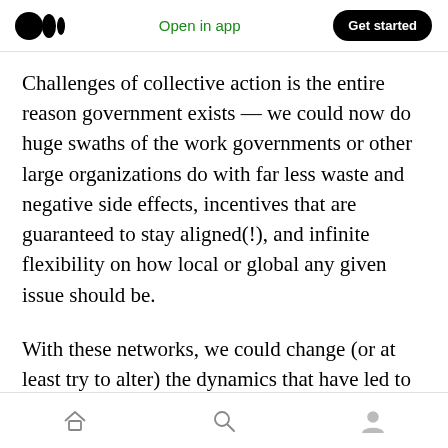Medium app header — Open in app | Get started
Challenges of collective action is the entire reason government exists — we could now do huge swaths of the work governments or other large organizations do with far less waste and negative side effects, incentives that are guaranteed to stay aligned(!), and infinite flexibility on how local or global any given issue should be.
With these networks, we could change (or at least try to alter) the dynamics that have led to such a polarized, extreme culture. Instead of a
Home | Search | Profile